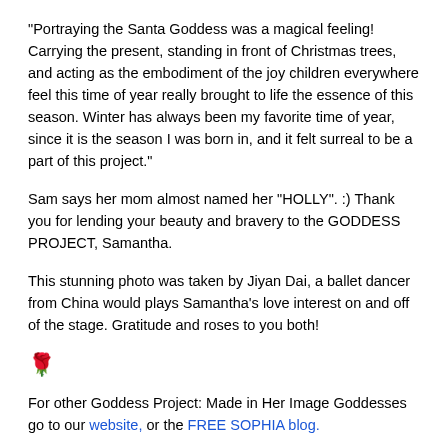“Portraying the Santa Goddess was a magical feeling! Carrying the present, standing in front of Christmas trees, and acting as the embodiment of the joy children everywhere feel this time of year really brought to life the essence of this season. Winter has always been my favorite time of year, since it is the season I was born in, and it felt surreal to be a part of this project.”
Sam says her mom almost named her “HOLLY”. :) Thank you for lending your beauty and bravery to the GODDESS PROJECT, Samantha.
This stunning photo was taken by Jiyan Dai, a ballet dancer from China would plays Samantha’s love interest on and off of the stage. Gratitude and roses to you both!
[Figure (illustration): Red rose emoji/icon]
For other Goddess Project: Made in Her Image Goddesses go to our website, or the FREE SOPHIA blog.
Share this